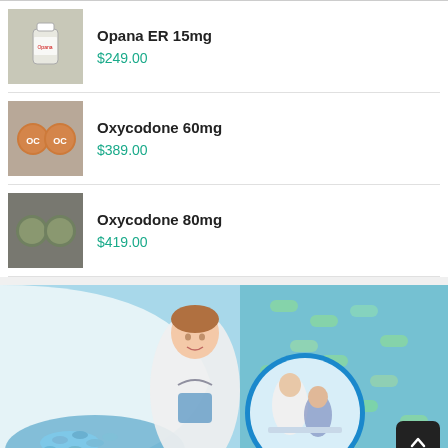Opana ER 15mg – $249.00
Oxycodone 60mg – $389.00
Oxycodone 80mg – $419.00
[Figure (photo): Promotional banner showing a female doctor in white coat with stethoscope, a circular inset of a male doctor consulting a patient, gloved hands holding blue pills, and a teal/blue background with pill imagery]
[Figure (photo): Partial blue banner at bottom of page]